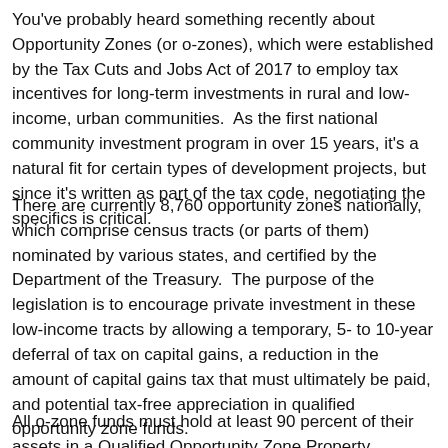You've probably heard something recently about Opportunity Zones (or o-zones), which were established by the Tax Cuts and Jobs Act of 2017 to employ tax incentives for long-term investments in rural and low-income, urban communities.  As the first national community investment program in over 15 years, it's a natural fit for certain types of development projects, but since it's written as part of the tax code, negotiating the specifics is critical.
There are currently 8,760 opportunity zones nationally, which comprise census tracts (or parts of them) nominated by various states, and certified by the Department of the Treasury.  The purpose of the legislation is to encourage private investment in these low-income tracts by allowing a temporary, 5- to 10-year deferral of tax on capital gains, a reduction in the amount of capital gains tax that must ultimately be paid, and potential tax-free appreciation in qualified opportunity zone funds.
All o-zone funds must hold at least 90 percent of their assets in a Qualified Opportunity Zone Property (QOZP), which is